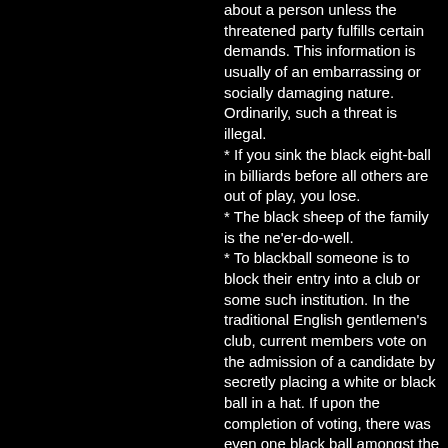about a person unless the threatened party fulfills certain demands. This information is usually of an embarrassing or socially damaging nature. Ordinarily, such a threat is illegal.
* If you sink the black eight-ball in billiards before all others are out of play, you lose.
* The black sheep of the family is the ne'er-do-well.
* To blackball someone is to block their entry into a club or some such institution. In the traditional English gentlemen's club, current members vote on the admission of a candidate by secretly placing a white or black ball in a hat. If upon the completion of voting, there was even one black ball amongst the white, the candidate would be denied membership, and he would never know who had "blackballed" him.
Pigments
Black pigments ******* carbon black, ivory black, ebony, onyx and charcoal black.